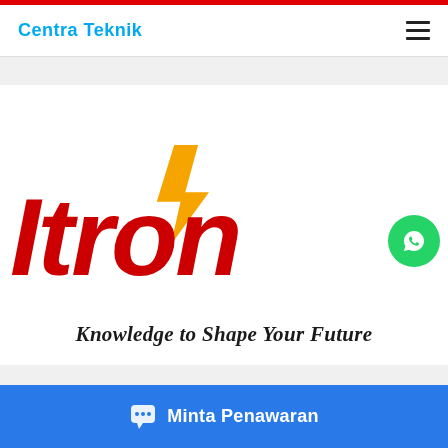Centra Teknik
[Figure (logo): Itron logo with red bold italic text 'Itron', orange lightning bolt/checkmark above, and tagline 'Knowledge to Shape Your Future' below]
Minta Penawaran